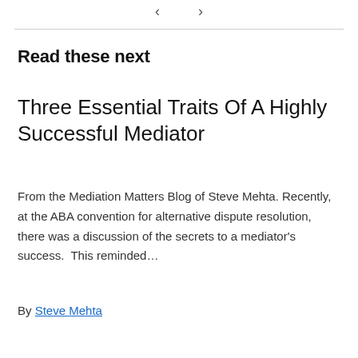< >
Read these next
Three Essential Traits Of A Highly Successful Mediator
From the Mediation Matters Blog of Steve Mehta. Recently, at the ABA convention for alternative dispute resolution, there was a discussion of the secrets to a mediator's success.  This reminded…
By Steve Mehta